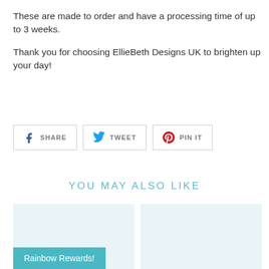These are made to order and have a processing time of up to 3 weeks.
Thank you for choosing EllieBeth Designs UK to brighten up your day!
[Figure (infographic): Social sharing buttons: Facebook SHARE, Twitter TWEET, Pinterest PIN IT]
YOU MAY ALSO LIKE
[Figure (other): Two product thumbnail cards side by side, with a teal Rainbow Rewards button overlay on the left card]